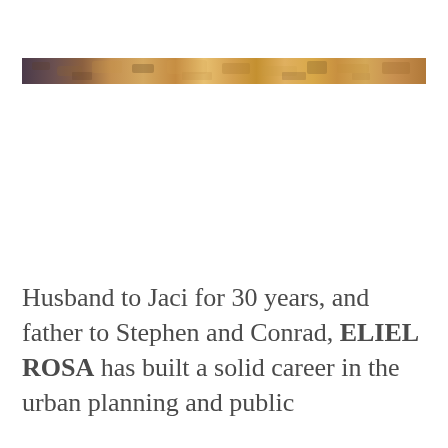[Figure (photo): A narrow horizontal strip of a textured rocky or stone surface, showing brown, tan, orange, and purple earthy tones.]
Husband to Jaci for 30 years, and father to Stephen and Conrad, ELIEL ROSA has built a solid career in the urban planning and public